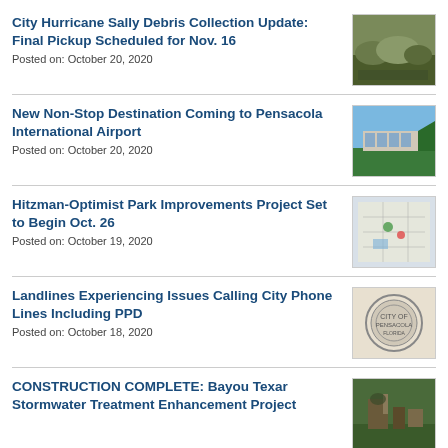City Hurricane Sally Debris Collection Update: Final Pickup Scheduled for Nov. 16
Posted on: October 20, 2020
[Figure (photo): Debris pile with vegetation and waste on roadside]
New Non-Stop Destination Coming to Pensacola International Airport
Posted on: October 20, 2020
[Figure (photo): Airport terminal building exterior with blue sky]
Hitzman-Optimist Park Improvements Project Set to Begin Oct. 26
Posted on: October 19, 2020
[Figure (photo): Park improvement site plan or map]
Landlines Experiencing Issues Calling City Phone Lines Including PPD
Posted on: October 18, 2020
[Figure (logo): City of Pensacola official seal]
CONSTRUCTION COMPLETE: Bayou Texar Stormwater Treatment Enhancement Project
[Figure (photo): Stormwater treatment construction equipment or facility]